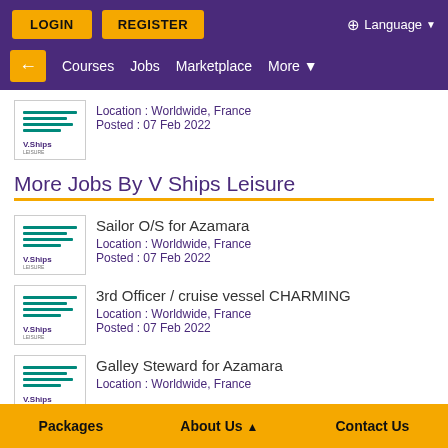LOGIN | REGISTER | Language
← Courses Jobs Marketplace More
Location : Worldwide, France
Posted : 07 Feb 2022
More Jobs By V Ships Leisure
Sailor O/S for Azamara
Location : Worldwide, France
Posted : 07 Feb 2022
3rd Officer / cruise vessel CHARMING
Location : Worldwide, France
Posted : 07 Feb 2022
Galley Steward for Azamara
Location : Worldwide, France
Packages | About Us | Contact Us